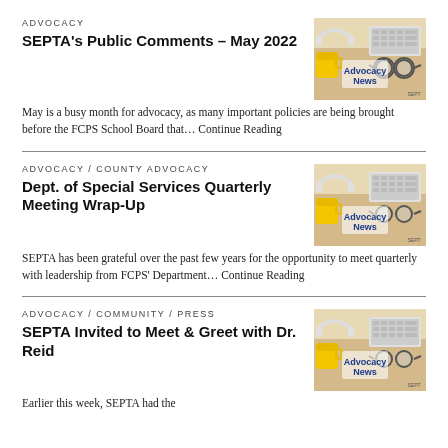ADVOCACY
SEPTA's Public Comments – May 2022
[Figure (illustration): Advocacy News image with headphones, glasses, keyboard, yellow cup on desk]
May is a busy month for advocacy, as many important policies are being brought before the FCPS School Board that… Continue Reading
ADVOCACY / COUNTY ADVOCACY
Dept. of Special Services Quarterly Meeting Wrap-Up
[Figure (illustration): Advocacy News image with headphones, glasses, keyboard, yellow cup on desk]
SEPTA has been grateful over the past few years for the opportunity to meet quarterly with leadership from FCPS' Department… Continue Reading
ADVOCACY / COMMUNITY / PRESS
SEPTA Invited to Meet & Greet with Dr. Reid
[Figure (illustration): Advocacy News image with headphones, glasses, keyboard, yellow cup on desk]
Earlier this week, SEPTA had the